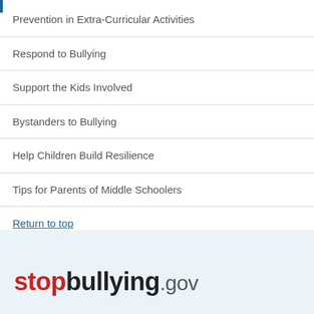Prevention in Extra-Curricular Activities
Respond to Bullying
Support the Kids Involved
Bystanders to Bullying
Help Children Build Resilience
Tips for Parents of Middle Schoolers
Return to top
[Figure (logo): stopbullying.gov logo with 'stop' in red bold, 'bullying' in dark bold, '.gov' in gray regular weight]